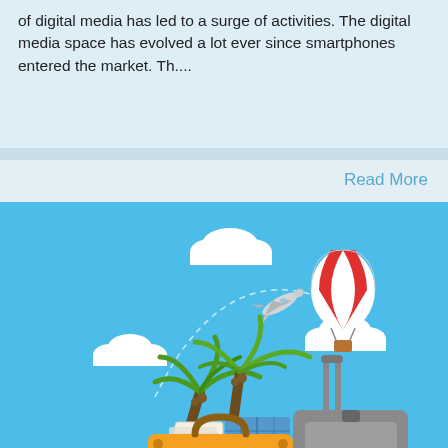of digital media has led to a surge of activities. The digital media space has evolved a lot ever since smartphones entered the market. Th....
Read More
[Figure (illustration): Travel illustration on a sky-blue background featuring palm trees, luggage (an orange vintage suitcase and a grey rolling suitcase), travel tickets, a map, a white airplane flying a dashed arc path, white clouds, and a red-and-white striped hot air balloon.]